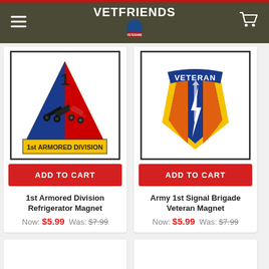VETFRIENDS
[Figure (illustration): 1st Armored Division patch — yellow triangle with red and blue halves, number 1 at top, tank and cannon crossed in center, text '1st ARMORED DIVISION' on yellow banner at bottom]
ADD TO CART
1st Armored Division Refrigerator Magnet
Now: $5.99  Was: $7.99
[Figure (illustration): Army 1st Signal Brigade Veteran patch — shield shape with yellow border, blue center with orange side panels, white lightning bolt and dagger, blue banner at top reading VETERAN]
ADD TO CART
Army 1st Signal Brigade Veteran Magnet
Now: $5.99  Was: $7.99